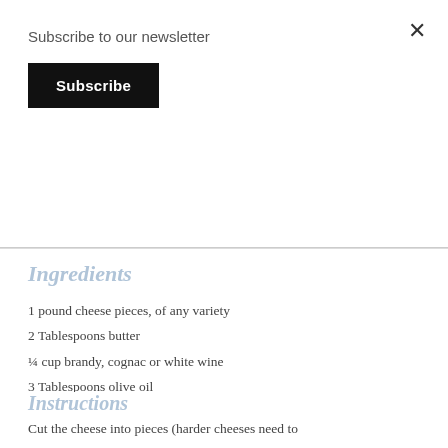Subscribe to our newsletter
Subscribe
Ingredients
1 pound cheese pieces, of any variety
2 Tablespoons butter
¼ cup brandy, cognac or white wine
3 Tablespoons olive oil
generous grind of black pepper
Instructions
Cut the cheese into pieces (harder cheeses need to